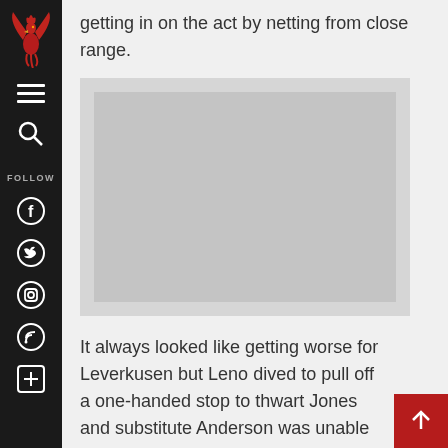[Figure (logo): Red phoenix/griffin sports club logo on dark sidebar]
getting in on the act by netting from close range.
[Figure (photo): Placeholder image area (gray box representing embedded photo)]
It always looked like getting worse for Leverkusen but Leno dived to pull off a one-handed stop to thwart Jones and substitute Anderson was unable to finish off Nani's inviting pass. A fifth goal did